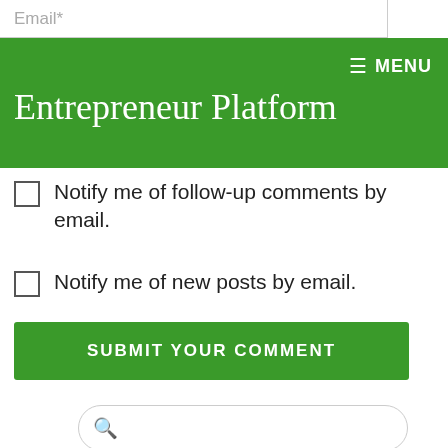Email*
≡ MENU
Entrepreneur Platform
Notify me of follow-up comments by email.
Notify me of new posts by email.
SUBMIT YOUR COMMENT
Search
Lifetime investment opportunity